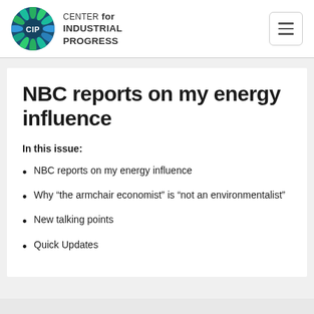CENTER for INDUSTRIAL PROGRESS
NBC reports on my energy influence
In this issue:
NBC reports on my energy influence
Why “the armchair economist” is “not an environmentalist”
New talking points
Quick Updates